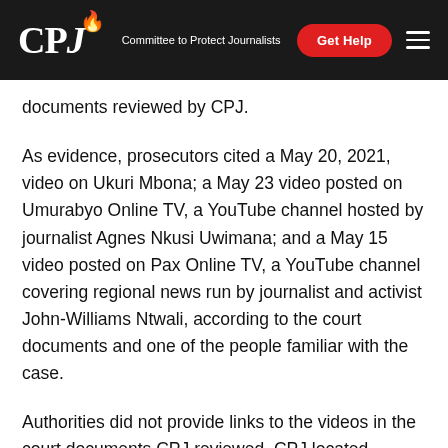CPJ Committee to Protect Journalists | Get Help
documents reviewed by CPJ.
As evidence, prosecutors cited a May 20, 2021, video on Ukuri Mbona; a May 23 video posted on Umurabyo Online TV, a YouTube channel hosted by journalist Agnes Nkusi Uwimana; and a May 15 video posted on Pax Online TV, a YouTube channel covering regional news run by journalist and activist John-Williams Ntwali, according to the court documents and one of the people familiar with the case.
Authorities did not provide links to the videos in the court documents CPJ reviewed. CPJ located multiple